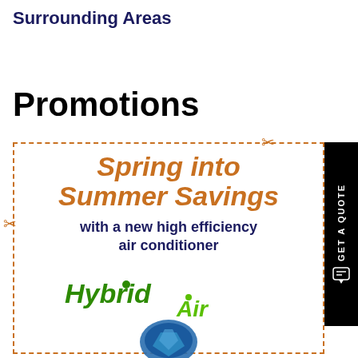Surrounding Areas
Promotions
[Figure (infographic): Coupon with dashed orange border and scissors icons. Text reads: Spring into Summer Savings with a new high efficiency air conditioner. Hybrid Air logo at the bottom with a circular graphic partially visible.]
[Figure (other): GET A QUOTE vertical sidebar button in black with chat icon]